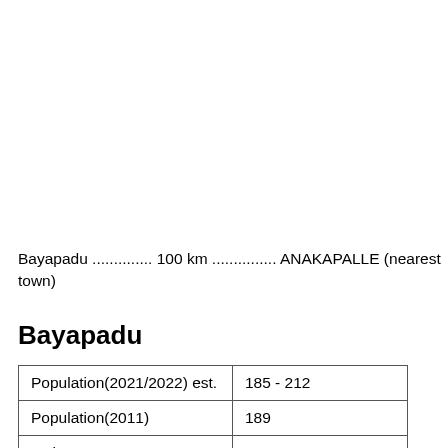Bayapadu .............. 100 km ............... ANAKAPALLE (nearest town)
Bayapadu
| Population(2021/2022) est. | 185 - 212 |
| Population(2011) | 189 |
| Males | 91 |